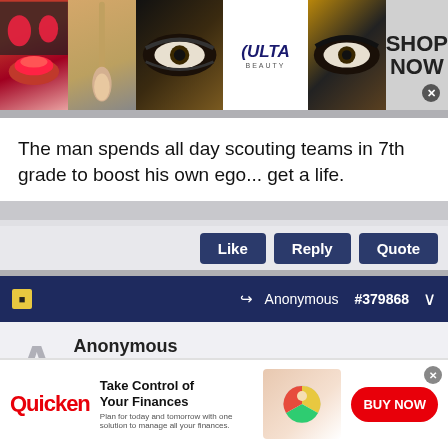[Figure (photo): Ulta Beauty advertisement banner with makeup images (lips, brush, eye) and SHOP NOW call to action]
The man spends all day scouting teams in 7th grade to boost his own ego... get a life.
Like  Reply  Quote
Anonymous #379868
Anonymous
Unregistered
Originally Posted by Anonymous
The man spends all day scouting teams in 7th grade to boost
[Figure (photo): Quicken advertisement — Take Control of Your Finances. Plan for today and tomorrow with one solution to manage all your finances. BUY NOW button.]